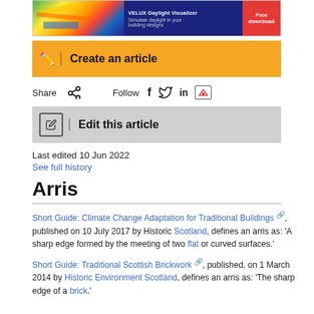[Figure (screenshot): Banner advertisement for VELUX Daylight Visualizer with heatmap image and red download button]
[Figure (screenshot): Orange 'Create an article' button bar with pencil icon]
Share  [share icon]   Follow  [facebook] [twitter] [linkedin] [youtube]
[Figure (screenshot): Grey 'Edit this article' button bar with edit icon]
Last edited 10 Jun 2022
See full history
Arris
Short Guide: Climate Change Adaptation for Traditional Buildings, published on 10 July 2017 by Historic Scotland, defines an arris as: 'A sharp edge formed by the meeting of two flat or curved surfaces.'
Short Guide: Traditional Scottish Brickwork, published, on 1 March 2014 by Historic Environment Scotland, defines an arris as: 'The sharp edge of a brick.'